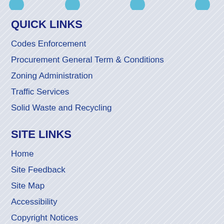QUICK LINKS
Codes Enforcement
Procurement General Term & Conditions
Zoning Administration
Traffic Services
Solid Waste and Recycling
SITE LINKS
Home
Site Feedback
Site Map
Accessibility
Copyright Notices